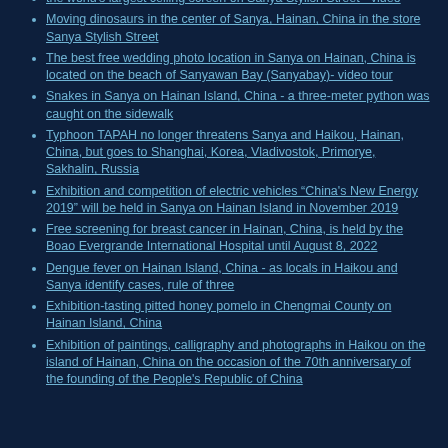the world's largest ceiling screen on Sanya Stylish Street - video
Moving dinosaurs in the center of Sanya, Hainan, China in the store Sanya Stylish Street
The best free wedding photo location in Sanya on Hainan, China is located on the beach of Sanyawan Bay (Sanyabay)- video tour
Snakes in Sanya on Hainan Island, China - a three-meter python was caught on the sidewalk
Typhoon TAPAH no longer threatens Sanya and Haikou, Hainan, China, but goes to Shanghai, Korea, Vladivostok, Primorye, Sakhalin, Russia
Exhibition and competition of electric vehicles “China's New Energy 2019” will be held in Sanya on Hainan Island in November 2019
Free screening for breast cancer in Hainan, China, is held by the Boao Evergrande International Hospital until August 8, 2022
Dengue fever on Hainan Island, China - as locals in Haikou and Sanya identify cases, rule of three
Exhibition-tasting pitted honey pomelo in Chengmai County on Hainan Island, China
Exhibition of paintings, calligraphy and photographs in Haikou on the island of Hainan, China on the occasion of the 70th anniversary of the founding of the People's Republic of China